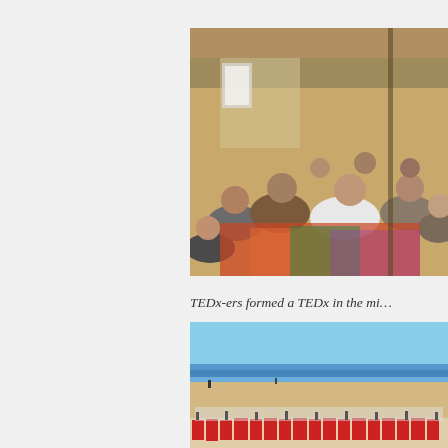Below is a brainstorming session i…
[Figure (photo): People sitting in a circle on colorful blankets under a tent canopy having a brainstorming session]
TEDx-ers formed a TEDx in the mi…
[Figure (photo): Large group of people in red and white shirts on a beach near the ocean forming a TEDx shape]